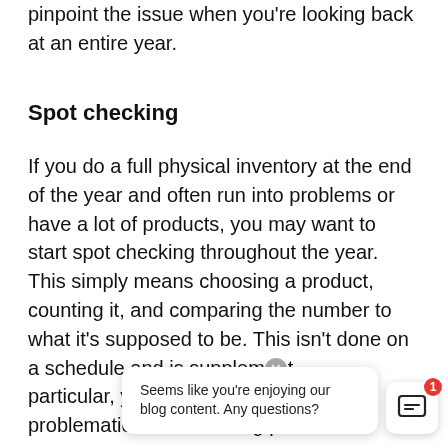pinpoint the issue when you're looking back at an entire year.
Spot checking
If you do a full physical inventory at the end of the year and often run into problems or have a lot of products, you may want to start spot checking throughout the year. This simply means choosing a product, counting it, and comparing the number to what it's supposed to be. This isn't done on a schedule and is supplementary… particular, y… problematic or fast-moving products.
Seems like you're enjoying our blog content. Any questions?